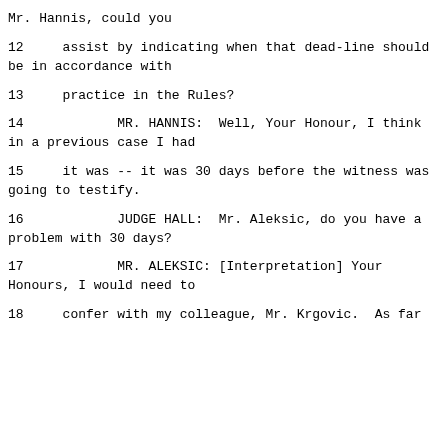Mr. Hannis, could you
12     assist by indicating when that dead-line should be in accordance with
13     practice in the Rules?
14          MR. HANNIS:  Well, Your Honour, I think in a previous case I had
15     it was -- it was 30 days before the witness was going to testify.
16          JUDGE HALL:  Mr. Aleksic, do you have a problem with 30 days?
17          MR. ALEKSIC: [Interpretation] Your Honours, I would need to
18     confer with my colleague, Mr. Krgovic.  As far